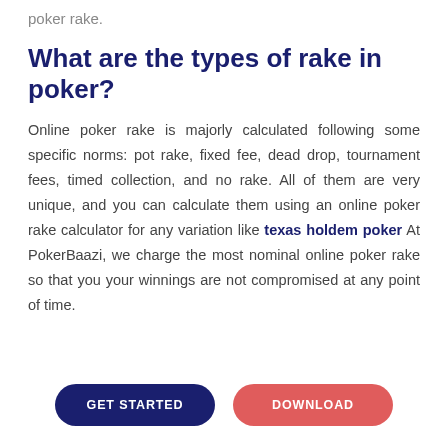poker rake.
What are the types of rake in poker?
Online poker rake is majorly calculated following some specific norms: pot rake, fixed fee, dead drop, tournament fees, timed collection, and no rake. All of them are very unique, and you can calculate them using an online poker rake calculator for any variation like texas holdem poker At PokerBaazi, we charge the most nominal online poker rake so that you your winnings are not compromised at any point of time.
[Figure (other): Two buttons: GET STARTED (dark navy, pill-shaped) and DOWNLOAD (red/coral, pill-shaped)]